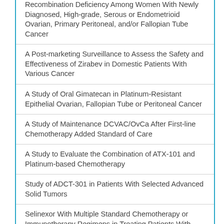Recombination Deficiency Among Women With Newly Diagnosed, High-grade, Serous or Endometrioid Ovarian, Primary Peritoneal, and/or Fallopian Tube Cancer
A Post-marketing Surveillance to Assess the Safety and Effectiveness of Zirabev in Domestic Patients With Various Cancer
A Study of Oral Gimatecan in Platinum-Resistant Epithelial Ovarian, Fallopian Tube or Peritoneal Cancer
A Study of Maintenance DCVAC/OvCa After First-line Chemotherapy Added Standard of Care
A Study to Evaluate the Combination of ATX-101 and Platinum-based Chemotherapy
Study of ADCT-301 in Patients With Selected Advanced Solid Tumors
Selinexor With Multiple Standard Chemotherapy or Immunotherapy Regimens in Treating Patients With Advanced Malignancies